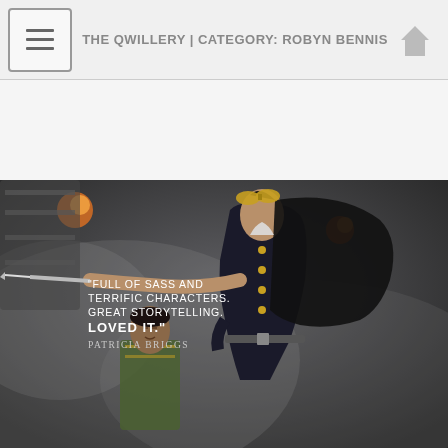THE QWILLERY | CATEGORY: ROBYN BENNIS
[Figure (illustration): Steampunk fantasy book cover illustration showing a woman in dark military-style uniform with goggles on her head, holding a weapon outstretched, with a male figure in the background. Text overlay reads: "Full of sass and terrific characters. Great storytelling. LOVED IT." — Patricia Briggs]